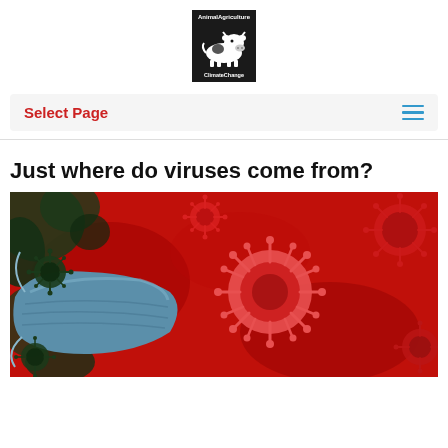[Figure (logo): Animal Agriculture & Climate Change logo — black box with white cow illustration, white text 'AnimalAgriculture' at top and 'ClimateChange' at bottom]
Select Page
Just where do viruses come from?
[Figure (photo): Red-toned close-up illustration of coronavirus particles (spiky spheres) on a red background with a person wearing a blue surgical face mask on the left side]